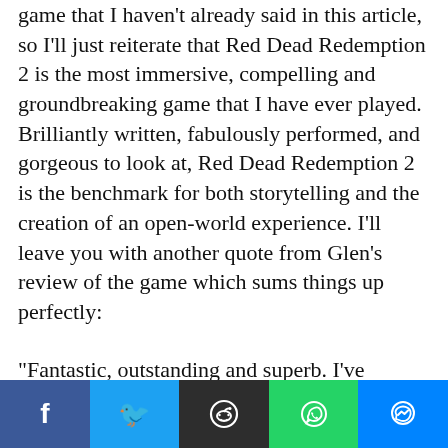game that I haven't already said in this article, so I'll just reiterate that Red Dead Redemption 2 is the most immersive, compelling and groundbreaking game that I have ever played. Brilliantly written, fabulously performed, and gorgeous to look at, Red Dead Redemption 2 is the benchmark for both storytelling and the creation of an open-world experience. I'll leave you with another quote from Glen's review of the game which sums things up perfectly:
"Fantastic, outstanding and superb. I've
[Figure (infographic): Social share bar with five buttons: Facebook (blue), Twitter (light blue), Reddit (dark grey), WhatsApp (green), Messenger (blue)]